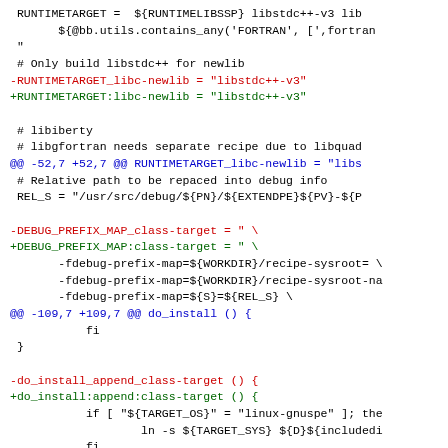Code diff showing changes to RUNTIMETARGET, DEBUG_PREFIX_MAP, do_install_append_class-target, and PACKAGES in a BitBake recipe file